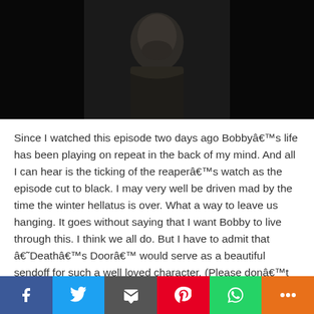[Figure (photo): Dark photo of a man (bearded) in dim lighting, wearing a jacket]
Since I watched this episode two days ago Bobbyâ€™s life has been playing on repeat in the back of my mind. And all I can hear is the ticking of the reaperâ€™s watch as the episode cut to black. I may very well be driven mad by the time the winter hellatus is over. What a way to leave us hanging. It goes without saying that I want Bobby to live through this. I think we all do. But I have to admit that â€˜Deathâ€™s Doorâ€™ would serve as a beautiful sendoff for such a well loved character. (Please donâ€™t kill him!)
[Figure (infographic): Social sharing bar with Facebook, Twitter, Email, Pinterest, WhatsApp, and More buttons]